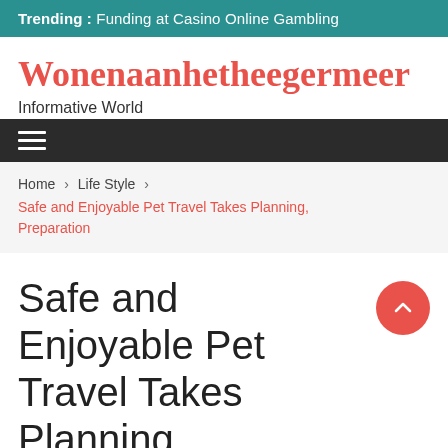Trending :  Funding at Casino Online Gambling
Wonenaanhetheegermeer
Informative World
≡ (hamburger menu)
Home › Life Style › Safe and Enjoyable Pet Travel Takes Planning, Preparation
Safe and Enjoyable Pet Travel Takes Planning, Preparation